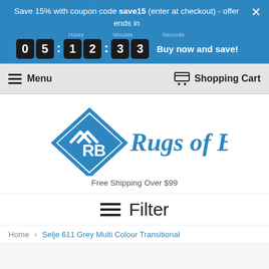Save 15% with coupon code save15 (enter at checkout) - offer ends in
0 5 : 1 2 : 3 3 Buy now and save!
Menu   Shopping Cart
[Figure (logo): Rugs of Beauty logo — blue diamond shape with 'RB' initials and italic text 'Rugs of Beauty' in blue]
Free Shipping Over $99
Filter
Home  ›  Selje 611 Grey Multi Colour Transitional